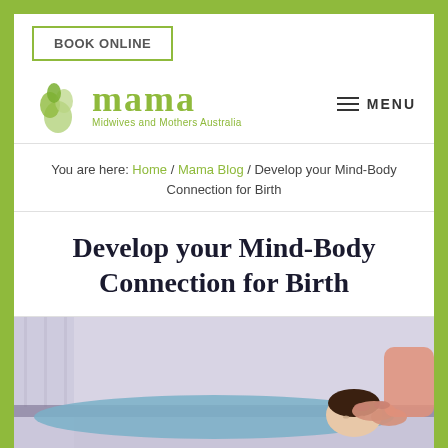BOOK ONLINE
[Figure (logo): MAMA - Midwives and Mothers Australia logo with green leaf/figure icon and green stylized text]
MENU
You are here: Home / Mama Blog / Develop your Mind-Body Connection for Birth
Develop your Mind-Body Connection for Birth
[Figure (photo): A woman lying on a therapy table receiving a head massage or craniosacral therapy from a practitioner in a salmon-colored top, in a light-colored room]